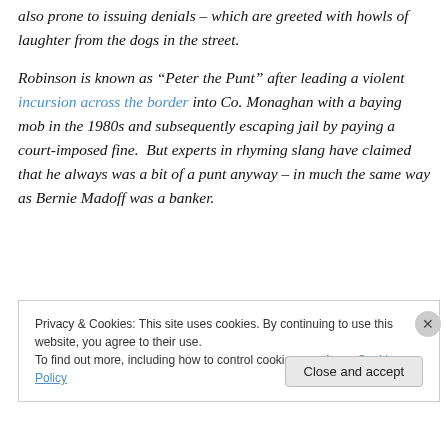also prone to issuing denials – which are greeted with howls of laughter from the dogs in the street.
Robinson is known as “Peter the Punt” after leading a violent incursion across the border into Co. Monaghan with a baying mob in the 1980s and subsequently escaping jail by paying a court-imposed fine.  But experts in rhyming slang have claimed that he always was a bit of a punt anyway – in much the same way as Bernie Madoff was a banker.
Privacy & Cookies: This site uses cookies. By continuing to use this website, you agree to their use.
To find out more, including how to control cookies, see here: Cookie Policy